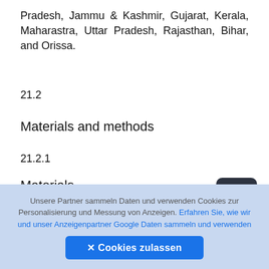Pradesh, Jammu & Kashmir, Gujarat, Kerala, Maharastra, Uttar Pradesh, Rajasthan, Bihar, and Orissa.
21.2
Materials and methods
21.2.1
Materials
The materials used in this study are as mentioned in Table 21.1.
Unsere Partner sammeln Daten und verwenden Cookies zur Personalisierung und Messung von Anzeigen. Erfahren Sie, wie wir und unser Anzeigenpartner Google Daten sammeln und verwenden